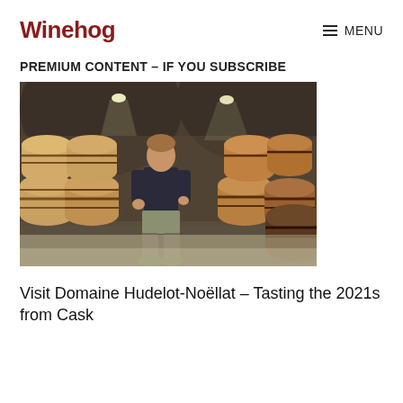Winehog   ≡ MENU
PREMIUM CONTENT – IF YOU SUBSCRIBE
[Figure (photo): A man in a dark t-shirt and shorts standing in a wine cellar surrounded by oak barrels stacked along arched stone walls, with ceiling spotlights illuminating the space.]
Visit Domaine Hudelot-Noëllat – Tasting the 2021s from Cask